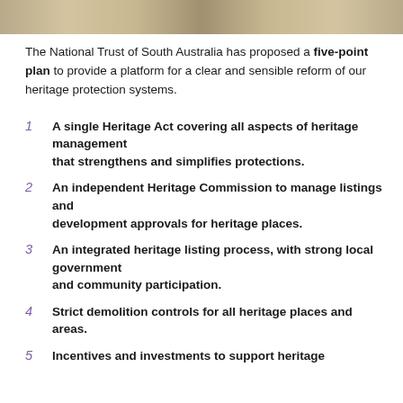[Figure (photo): Sandy/desert landscape image strip at the top of the page]
The National Trust of South Australia has proposed a five-point plan to provide a platform for a clear and sensible reform of our heritage protection systems.
A single Heritage Act covering all aspects of heritage management that strengthens and simplifies protections.
An independent Heritage Commission to manage listings and development approvals for heritage places.
An integrated heritage listing process, with strong local government and community participation.
Strict demolition controls for all heritage places and areas.
Incentives and investments to support heritage